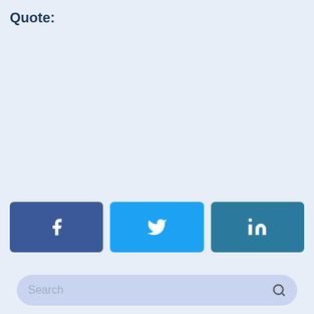Quote:
[Figure (infographic): Three social media sharing buttons: Facebook (dark blue with 'f' logo), Twitter (light blue with bird logo), LinkedIn (teal-blue with 'in' logo)]
[Figure (other): Search bar with placeholder text 'Search' and magnifying glass icon, styled with rounded pill shape on light blue background]